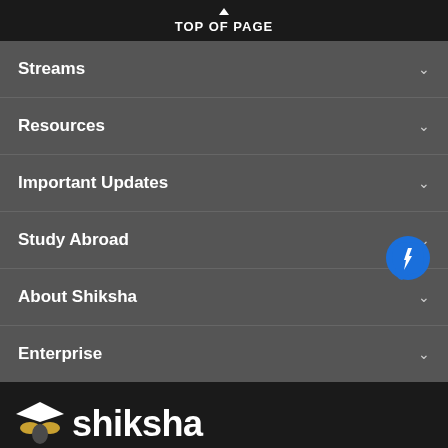TOP OF PAGE
Streams
Resources
Important Updates
Study Abroad
About Shiksha
Enterprise
[Figure (logo): Shiksha logo with graduation cap icon and white text 'shiksha' on dark background]
[Figure (other): Blue circular chat button with lightning bolt icon]